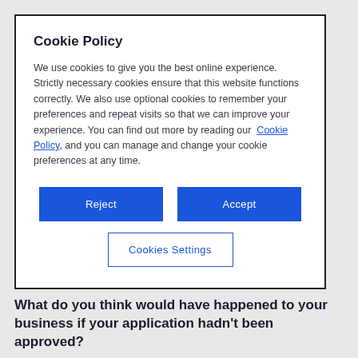Cookie Policy
We use cookies to give you the best online experience. Strictly necessary cookies ensure that this website functions correctly. We also use optional cookies to remember your preferences and repeat visits so that we can improve your experience. You can find out more by reading our Cookie Policy, and you can manage and change your cookie preferences at any time.
[Figure (other): Two blue buttons labeled Reject and Accept side by side, and a third outlined button labeled Cookies Settings below them]
What do you think would have happened to your business if your application hadn't been approved?